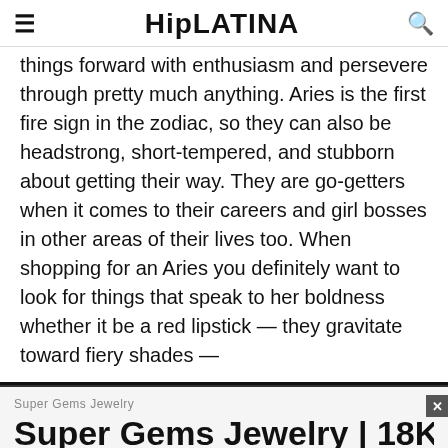≡ HipLATINA 🔍
things forward with enthusiasm and persevere through pretty much anything. Aries is the first fire sign in the zodiac, so they can also be headstrong, short-tempered, and stubborn about getting their way. They are go-getters when it comes to their careers and girl bosses in other areas of their lives too. When shopping for an Aries you definitely want to look for things that speak to her boldness whether it be a red lipstick — they gravitate toward fiery shades —
[Figure (other): Advertisement banner for Super Gems Jewelry showing sponsor label 'Super Gems Jewelry' and partial title 'Super Gems Jewelry | 18K Jew' with close button X and ad icons]